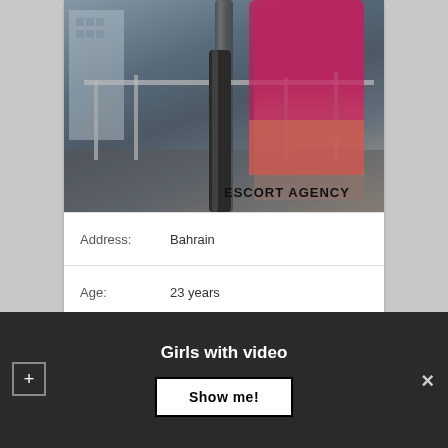[Figure (photo): Woman in red/pink dress standing on a rooftop or balcony with railings and urban buildings in background. Watermark text 'ESCORT AGENCY' in bottom right of photo.]
| Address: | Bahrain |
| Age: | 23 years |
| Height: | 174 |
Girls with video
Show me!